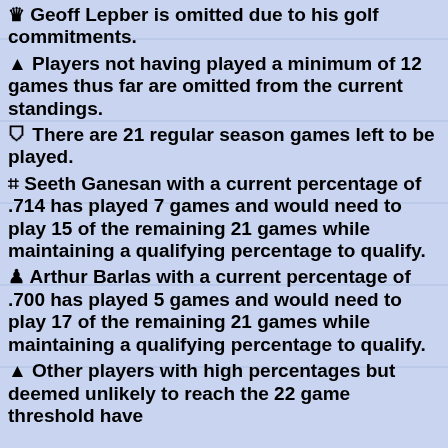♛ Geoff Lepber is omitted due to his golf commitments.
▲ Players not having played a minimum of 12 games thus far are omitted from the current standings.
⛉ There are 21 regular season games left to be played.
⌗ Seeth Ganesan with a current percentage of .714 has played 7 games and would need to play 15 of the remaining 21 games while maintaining a qualifying percentage to qualify.
♟ Arthur Barlas with a current percentage of .700 has played 5 games and would need to play 17 of the remaining 21 games while maintaining a qualifying percentage to qualify.
▲ Other players with high percentages but deemed unlikely to reach the 22 game threshold have